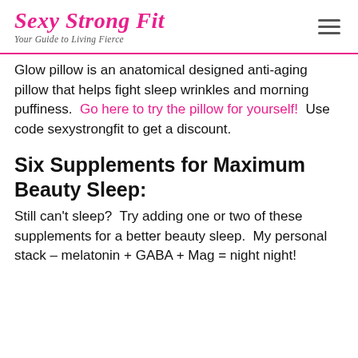Sexy Strong Fit — Your Guide to Living Fierce
Glow pillow is an anatomical designed anti-aging pillow that helps fight sleep wrinkles and morning puffiness.  Go here to try the pillow for yourself!  Use code sexystrongfit to get a discount.
Six Supplements for Maximum Beauty Sleep:
Still can't sleep?  Try adding one or two of these supplements for a better beauty sleep.  My personal stack – melatonin + GABA + Mag = night night!